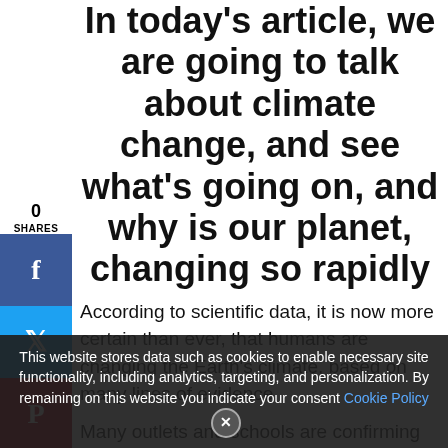In today's article, we are going to talk about climate change, and see what's going on, and why is our planet, changing so rapidly
According to scientific data, it is now more certain than ever, that humans are changing the Earth's climate, based on many lines of evidence.
Many outlets and schools are confirming that, sea-levels are rising, due to the atmosphere warming; as well as the strong decline in artic sea ice, and other climate-related changes.
In our opinion, climate change is happening, and it has negative effects. Do not be afraid of learning what we know, and what we do not know, regarding what we...
This website stores data such as cookies to enable necessary site functionality, including analytics, targeting, and personalization. By remaining on this website you indicate your consent Cookie Policy